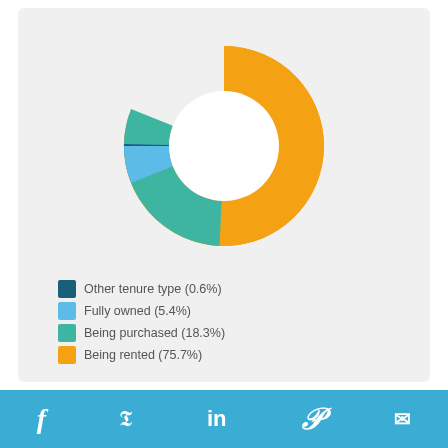[Figure (donut-chart): Pegs Creek tenure type]
Pegs Creek property types
[Figure (pie-chart): Partial pie chart visible at bottom of page]